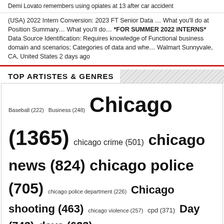Demi Lovato remembers using opiates at 13 after car accident
(USA) 2022 Intern Conversion: 2023 FT Senior Data … What you'll do at Position Summary… What you'll do… *FOR SUMMER 2022 INTERNS* Data Source Identification: Requires knowledge of Functional business domain and scenarios; Categories of data and whe… Walmart Sunnyvale, CA, United States 2 days ago
TOP ARTISTES & GENRES
[Figure (infographic): Tag cloud showing article/topic counts: Baseball (222), Business (248), Chicago (1365), chicago crime (501), chicago news (824), chicago police (705), chicago police department (226), Chicago shooting (463), chicago violence (257), cpd (371), Day (743), days (623), empowerment (387), home (255), Job (218), killed (297), Living (217), Login (682), man (414), Manager (331), Metro (369), mlb (272), News (2119), Opportunities (587), Park (378), Part (227), people (250), Police (724), police department (284), position (481), Sales (255), San (315), Service (225), shooting (567), Shopping (242), shot (294), South (305), Sports (1115), States (truncated)]